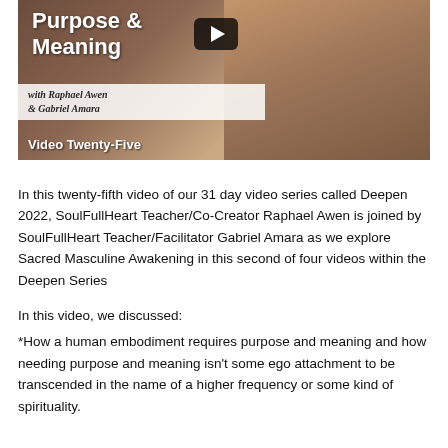[Figure (screenshot): Video thumbnail showing 'Purpose & Meaning with Raphael Awen & Gabriel Amara - Video Twenty-Five' with a play button and two people in the background]
In this twenty-fifth video of our 31 day video series called Deepen 2022, SoulFullHeart Teacher/Co-Creator Raphael Awen is joined by SoulFullHeart Teacher/Facilitator Gabriel Amara as we explore Sacred Masculine Awakening in this second of four videos within the Deepen Series
In this video, we discussed:
*How a human embodiment requires purpose and meaning and how needing purpose and meaning isn't some ego attachment to be transcended in the name of a higher frequency or some kind of spirituality.